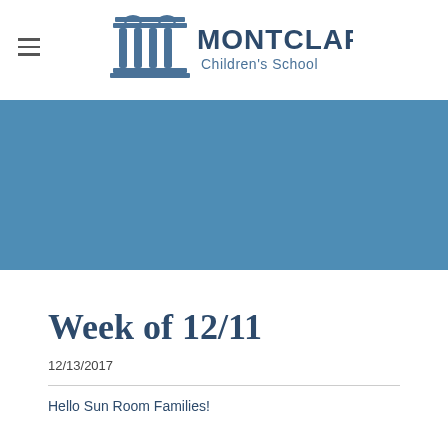[Figure (logo): Montclare Children's School logo with Greek column pillar icon and school name in blue-grey text]
[Figure (photo): Solid blue banner/hero image area]
Week of 12/11
12/13/2017
Hello Sun Room Families!